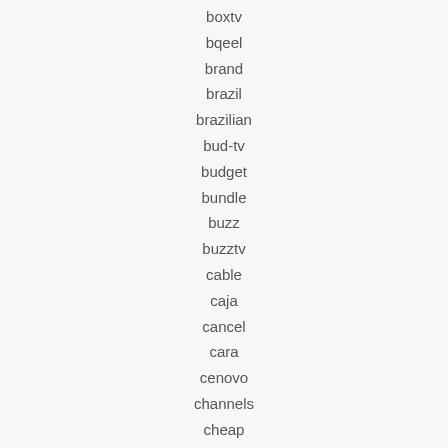boxtv
bqeel
brand
brazil
brazilian
bud-tv
budget
bundle
buzz
buzztv
cable
caja
cancel
cara
cenovo
channels
cheap
cheapest
china
chinese
chinesehktwithvietnam